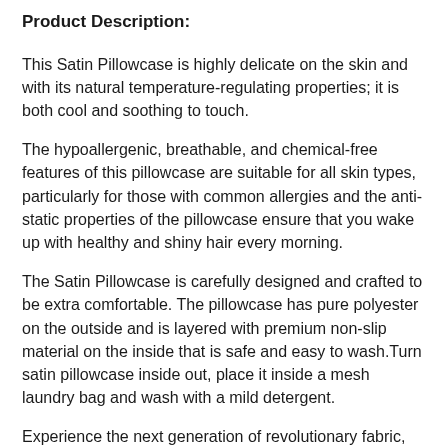Product Description:
This Satin Pillowcase is highly delicate on the skin and with its natural temperature-regulating properties; it is both cool and soothing to touch.
The hypoallergenic, breathable, and chemical-free features of this pillowcase are suitable for all skin types, particularly for those with common allergies and the anti-static properties of the pillowcase ensure that you wake up with healthy and shiny hair every morning.
The Satin Pillowcase is carefully designed and crafted to be extra comfortable. The pillowcase has pure polyester on the outside and is layered with premium non-slip material on the inside that is safe and easy to wash.Turn satin pillowcase inside out, place it inside a mesh laundry bag and wash with a mild detergent.
Experience the next generation of revolutionary fabric, highly advanced satin fabric. While other materials may tug at your hair follicles and strip your skin of natural, important oils, satin isn't as drying as cotton. Satin is like a godsend for your skin. your skin of